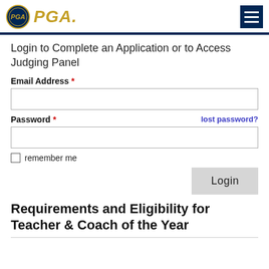PGA
Login to Complete an Application or to Access Judging Panel
Email Address *
Password * lost password?
remember me
Login
Requirements and Eligibility for Teacher & Coach of the Year